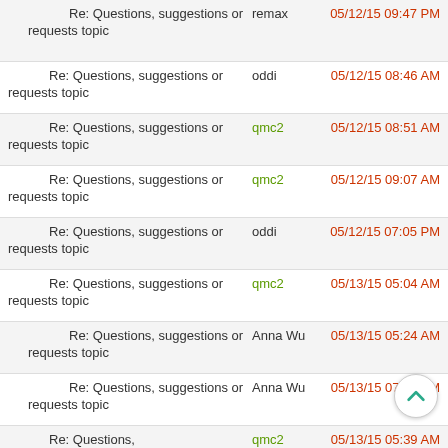Re: Questions, suggestions or requests topic | remax | 05/12/15 09:47 PM
Re: Questions, suggestions or requests topic | oddi | 05/12/15 08:46 AM
Re: Questions, suggestions or requests topic | qmc2 | 05/12/15 08:51 AM
Re: Questions, suggestions or requests topic | qmc2 | 05/12/15 09:07 AM
Re: Questions, suggestions or requests topic | oddi | 05/12/15 07:05 PM
Re: Questions, suggestions or requests topic | qmc2 | 05/13/15 05:04 AM
Re: Questions, suggestions or requests topic | Anna Wu | 05/13/15 05:24 AM
Re: Questions, suggestions or requests topic | Anna Wu | 05/13/15 07:02 AM
Re: Questions, | qmc2 | 05/13/15 05:39 AM